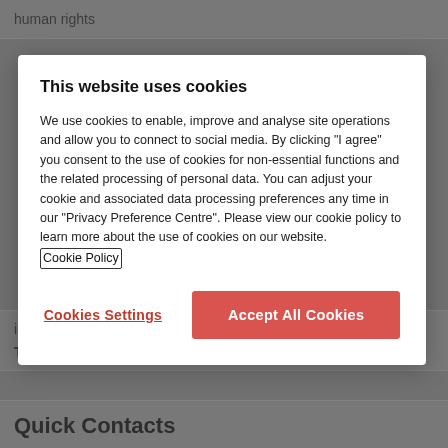human rights
injury; civil liberties
Training contract deadline: 29 July 2022
Quick Contacts
This website uses cookies
We use cookies to enable, improve and analyse site operations and allow you to connect to social media. By clicking "I agree" you consent to the use of cookies for non-essential functions and the related processing of personal data. You can adjust your cookie and associated data processing preferences any time in our "Privacy Preference Centre". Please view our cookie policy to learn more about the use of cookies on our website. Cookie Policy
Cookies Settings
Accept All Cookies